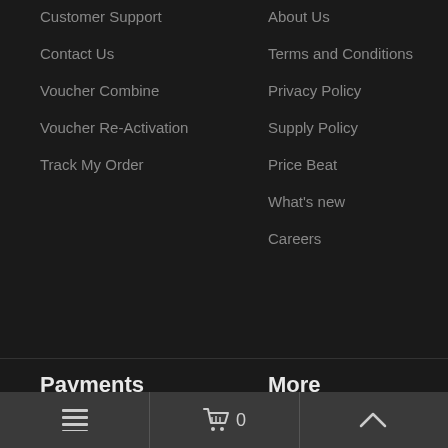Customer Support
Contact Us
Voucher Combine
Voucher Re-Activation
Track My Order
About Us
Terms and Conditions
Privacy Policy
Supply Policy
Price Beat
What's new
Careers
Payments
Credit Card
PayPal
Laybuy
More
Get Started
Download Our Software